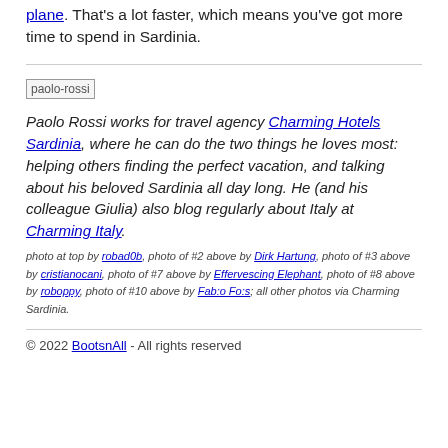plane. That's a lot faster, which means you've got more time to spend in Sardinia.
[Figure (photo): paolo-rossi image placeholder]
Paolo Rossi works for travel agency Charming Hotels Sardinia, where he can do the two things he loves most: helping others finding the perfect vacation, and talking about his beloved Sardinia all day long. He (and his colleague Giulia) also blog regularly about Italy at Charming Italy.
photo at top by robad0b, photo of #2 above by Dirk Hartung, photo of #3 above by cristianocani, photo of #7 above by Effervescing Elephant, photo of #8 above by roboppy, photo of #10 above by Fab:o Fo:s; all other photos via Charming Sardinia.
© 2022 BootsnAll - All rights reserved